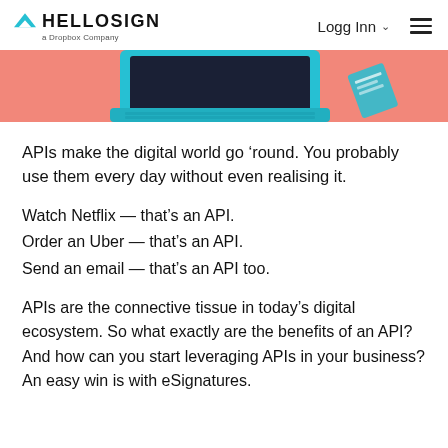HELLOSIGN a Dropbox Company  Logg Inn
[Figure (illustration): Partial illustration of a laptop computer and a paper document on a pink/salmon background, visible as a cropped hero banner strip.]
APIs make the digital world go ‘round. You probably use them every day without even realising it.
Watch Netflix — that’s an API.
Order an Uber — that’s an API.
Send an email — that’s an API too.
APIs are the connective tissue in today’s digital ecosystem. So what exactly are the benefits of an API? And how can you start leveraging APIs in your business? An easy win is with eSignatures.